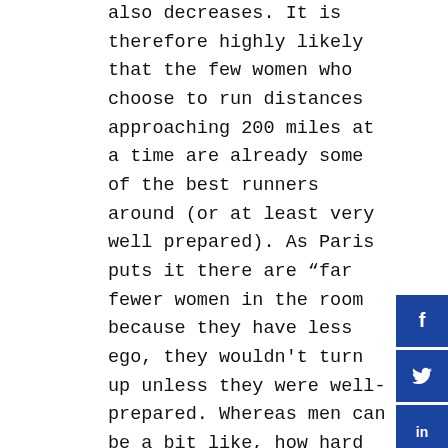also decreases. It is therefore highly likely that the few women who choose to run distances approaching 200 miles at a time are already some of the best runners around (or at least very well prepared). As Paris puts it there are “far fewer women in the room because they have less ego, they wouldn't turn up unless they were well-prepared. Whereas men can be a bit like, how hard can this be?"
The truth of the matter is, if you want to predict who will win a 5km race, you can take them into the lab and get a good sense, but if you want to know who's going to win a 200-miler, there is simply not